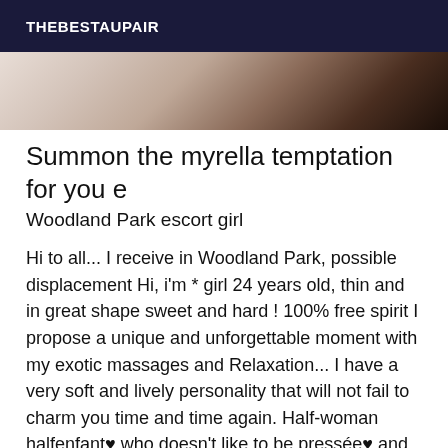THEBESTAUPAIR
[Figure (photo): Partial view of a woman lying down, soft light tones, dark hair visible at top right]
Summon the myrella temptation for you e
Woodland Park escort girl
Hi to all... I receive in Woodland Park, possible displacement Hi, i'm * girl 24 years old, thin and in great shape sweet and hard ! 100% free spirit I propose a unique and unforgettable moment with my exotic massages and Relaxation... I have a very soft and lively personality that will not fail to charm you time and time again. Half-woman halfenfant♥ who doesn't like to be pressée♥ and prefers to give you nothing less than 200% of my attention♥ a share on all levels! These are my photos! And you won't be disappointed! suspense will be the foretaste of our meeting. I can only tell you one thing, my skin is soft as honey and it's up to you to